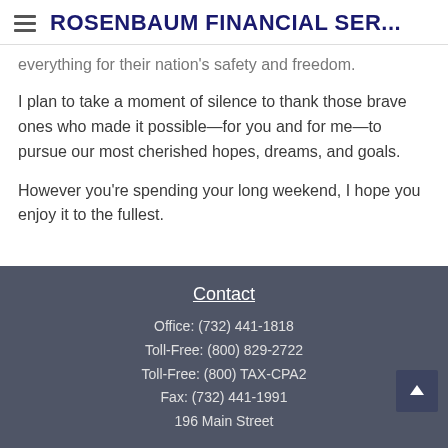ROSENBAUM FINANCIAL SER...
everything for their nation's safety and freedom.
I plan to take a moment of silence to thank those brave ones who made it possible—for you and for me—to pursue our most cherished hopes, dreams, and goals.
However you're spending your long weekend, I hope you enjoy it to the fullest.
Contact
Office: (732) 441-1818
Toll-Free: (800) 829-2722
Toll-Free: (800) TAX-CPA2
Fax: (732) 441-1991
196 Main Street